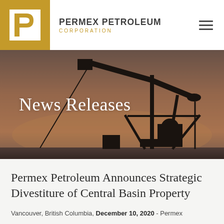[Figure (logo): Permex Petroleum Corporation logo — white square with bold 'P' letterform in white on gold/amber background, with company name 'PERMEX PETROLEUM CORPORATION' to the right]
[Figure (photo): Oil pump jack silhouette against a warm orange-brown dusk sky, with text overlay 'News Releases']
Permex Petroleum Announces Strategic Divestiture of Central Basin Property
Vancouver, British Columbia, December 10, 2020 - Permex